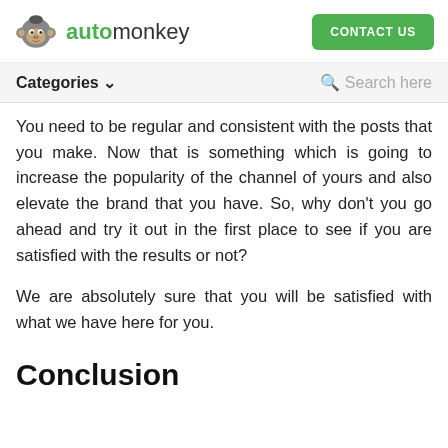automonkey | CONTACT US
You need to be regular and consistent with the posts that you make. Now that is something which is going to increase the popularity of the channel of yours and also elevate the brand that you have. So, why don't you go ahead and try it out in the first place to see if you are satisfied with the results or not?
We are absolutely sure that you will be satisfied with what we have here for you.
Conclusion